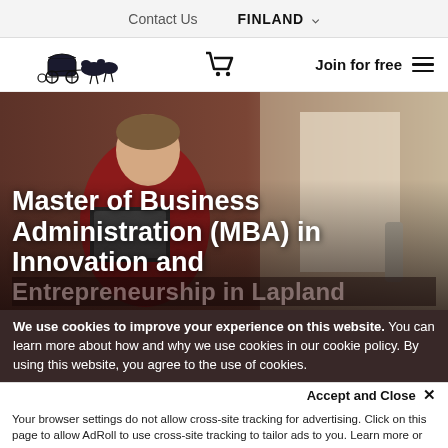Contact Us    FINLAND
[Figure (logo): Carriageware logo with horse and carriage illustration, cart icon, Join for free text and hamburger menu]
[Figure (photo): Man in red sweater looking at a tablet device, sitting at a desk near a window]
Master of Business Administration (MBA) in Innovation and Entrepreneurship in Lapland
We use cookies to improve your experience on this website. You can learn more about how and why we use cookies in our cookie policy. By using this website, you agree to the use of cookies.
Accept and Close ×
Your browser settings do not allow cross-site tracking for advertising. Click on this page to allow AdRoll to use cross-site tracking to tailor ads to you. Learn more or opt out of this AdRoll tracking by clicking here. This message only appears once.